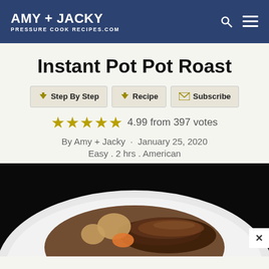AMY + JACKY PRESSURE COOK RECIPES.COM
Instant Pot Pot Roast
Step By Step | Recipe | Subscribe
4.99 from 397 votes
By Amy + Jacky · January 25, 2020
Easy . 2 hrs . American
[Figure (photo): A white plate with pot roast beef, carrots, and onions in brown gravy on a dark background]